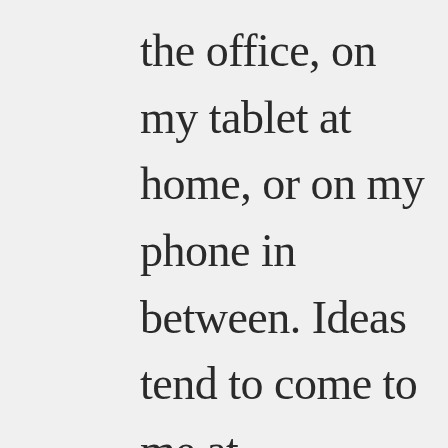the office, on my tablet at home, or on my phone in between. Ideas tend to come to me at inconvenient times, which makes being